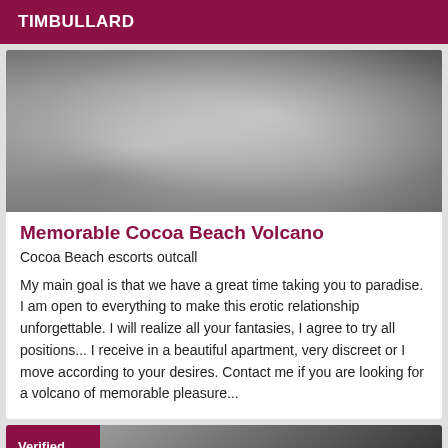TIMBULLARD
[Figure (photo): Black and white close-up photo of a person wearing lingerie and a plaid skirt with lace details]
Memorable Cocoa Beach Volcano
Cocoa Beach escorts outcall
My main goal is that we have a great time taking you to paradise. I am open to everything to make this erotic relationship unforgettable. I will realize all your fantasies, I agree to try all positions... I receive in a beautiful apartment, very discreet or I move according to your desires. Contact me if you are looking for a volcano of memorable pleasure...
Verified